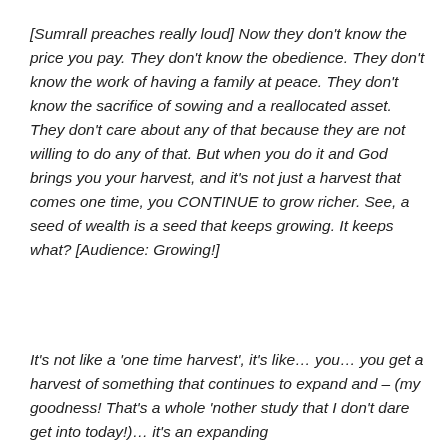[Sumrall preaches really loud] Now they don't know the price you pay. They don't know the obedience. They don't know the work of having a family at peace. They don't know the sacrifice of sowing and a reallocated asset. They don't care about any of that because they are not willing to do any of that. But when you do it and God brings you your harvest, and it's not just a harvest that comes one time, you CONTINUE to grow richer. See, a seed of wealth is a seed that keeps growing. It keeps what? [Audience: Growing!]
It's not like a 'one time harvest', it's like… you… you get a harvest of something that continues to expand and – (my goodness! That's a whole 'nother study that I don't dare get into today!)… it's an expanding